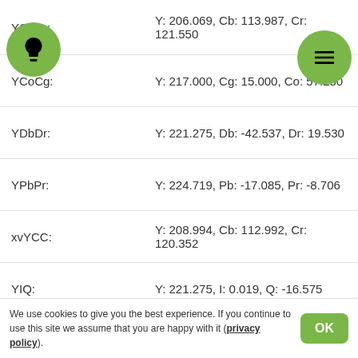YCbCr: Y: 206.069, Cb: 113.987, Cr: 121.550
YCoCg: Y: 217.000, Cg: 15.000, Co: 57.250
YDbDr: Y: 221.275, Db: -42.537, Dr: 19.530
YPbPr: Y: 224.719, Pb: -17.085, Pr: -8.706
xvYCC: Y: 208.994, Cb: 112.992, Cr: 120.352
YIQ: Y: 221.275, I: 0.019, Q: -16.575
YUV: Y: 221.275, U: -13.912, V: -9.015
□□□□□□□□□□□□: 7.5GY 9/2  ΔE = 3.441
□□□□□□□□: Zerply  ΔE = 14.845
We use cookies to give you the best experience. If you continue to use this site we assume that you are happy with it (privacy policy)